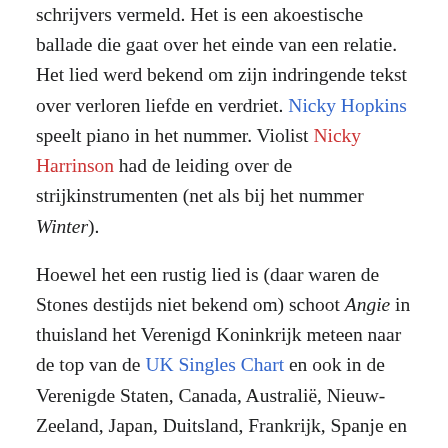schrijvers vermeld. Het is een akoestische ballade die gaat over het einde van een relatie. Het lied werd bekend om zijn indringende tekst over verloren liefde en verdriet. Nicky Hopkins speelt piano in het nummer. Violist Nicky Harrinson had de leiding over de strijkinstrumenten (net als bij het nummer Winter).
Hoewel het een rustig lied is (daar waren de Stones destijds niet bekend om) schoot Angie in thuisland het Verenigd Koninkrijk meteen naar de top van de UK Singles Chart en ook in de Verenigde Staten, Canada, Australië, Nieuw-Zeeland, Japan, Duitsland, Frankrijk, Spanje en Ierland.
In Nederland werd de single veel gedraaid op Radio Veronica, Radio Noordzee Nationaal, Radio Caroline, Mi Amigo en de publieke popzender Hilversum 3 en werd een gigantische hit. De plaat bereikte de nummer 1-positie in